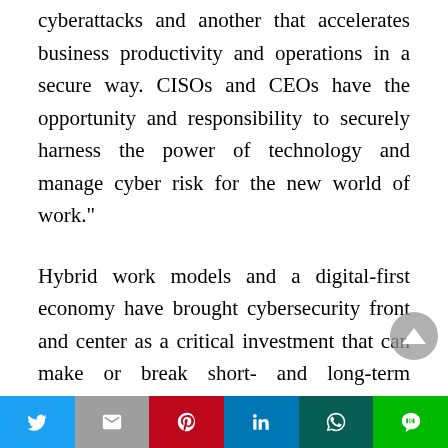cyberattacks and another that accelerates business productivity and operations in a secure way. CISOs and CEOs have the opportunity and responsibility to securely harness the power of technology and manage cyber risk for the new world of work."
Hybrid work models and a digital-first economy have brought cybersecurity front and center as a critical investment that can make or break short- and long-term business strategies. To address this demand, 75% of U.K. security leaders plan to increase their network security investments over the next 12 to 24 months; 72% will increase spend
Twitter | Gmail | Pinterest | LinkedIn | WhatsApp | Line